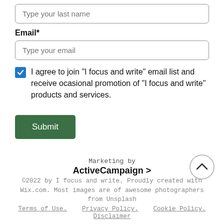Type your last name
Email*
Type your email
I agree to join "I focus and write" email list and receive ocasional promotion of "I focus and write" products and services.
Submit
Marketing by
ActiveCampaign >
©2022 by I focus and write. Proudly created with Wix.com. Most images are of awesome photographers from Unsplash
Terms of Use.   Privacy Policy.   Cookie Policy.   Disclaimer